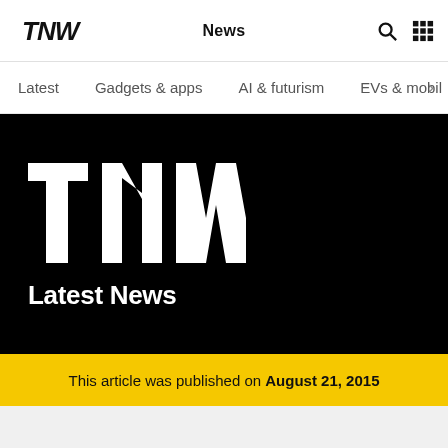TNW | News
Latest
Gadgets & apps
AI & futurism
EVs & mobil
[Figure (logo): TNW large white logo on black background with 'Latest News' label below]
This article was published on August 21, 2015